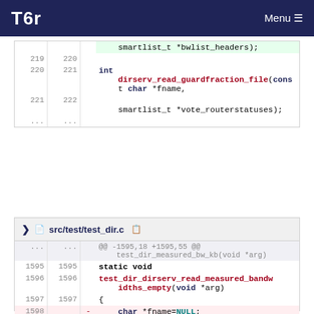Tor | Menu
| old | new | code |
| --- | --- | --- |
|  |  | smartlist_t *bwlist_headers); |
| 219 | 220 |  |
| 220 | 221 | int dirserv_read_guardfraction_file(const t char *fname, |
| 221 | 222 | smartlist_t *vote_routerstatuses); |
| ... | ... |  |
src/test/test_dir.c
| old | new | sign | code |
| --- | --- | --- | --- |
| ... | ... |  | @@ -1595,18 +1595,55 @@ test_dir_measured_bw_kb(void *arg) |
| 1595 | 1595 |  | static void |
| 1596 | 1596 |  | test_dir_dirserv_read_measured_bandwidths_empty(void *arg) |
| 1597 | 1597 |  | { |
| 1598 |  | - |     char *fname=NULL; |
| 1599 | 1598 |  |     (void)arg; |
|  | 1599 | + |     char *content = NULL; |